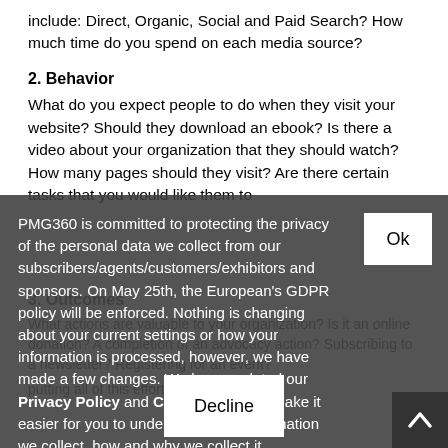include: Direct, Organic, Social and Paid Search?  How much time do you spend on each media source?
2.  Behavior
What do you expect people to do when they visit your website?  Should they download an ebook?  Is there a video about your organization that they should watch?  How many pages should they visit?  Are there certain tasks that you would like them to
PMG360 is committed to protecting the privacy of the personal data we collect from our subscribers/agents/customers/exhibitors and sponsors. On May 25th, the European's GDPR policy will be enforced. Nothing is changing about your current settings or how your information is processed, however, we have made a few changes. We have updated our Privacy Policy and Cookie Policy to make it easier for you to understand what information we collect, how and why we collect it.
3.  Outcomes
What actions are valuable to your organization?  Is it an online donation?  A completion of an advocacy action?  Subscribing to a newsletter?  Registering for an event?
putting all of this effort into our website?
I hope these questions have you thinking in the right direction